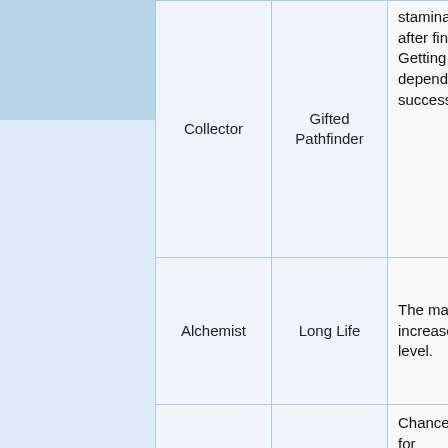| Class | Skill | Description |
| --- | --- | --- |
| Collector | Gifted Pathfinder | ...and the stamina may be regenerated after finishing the quest. Getting this bonus does not depend on the successfulness of the quest. |
| Alchemist | Long Life | The maximum stamina is increased by +2 [stamina icon], per skill level. |
|  |  | Chance to regenerate 1 [stamina icon] for ... |